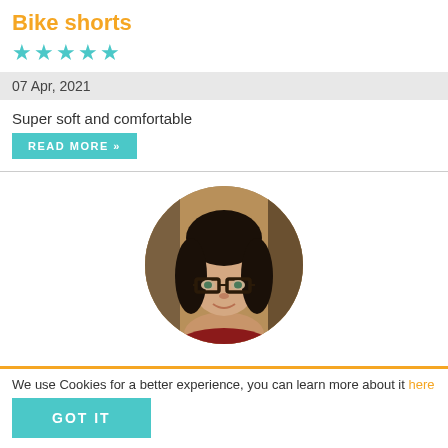Bike shorts
★★★★★
07 Apr, 2021
Super soft and comfortable
READ MORE »
[Figure (photo): Circular cropped portrait photo of a young woman with long dark hair and glasses, smiling, against a warm brown background]
We use Cookies for a better experience, you can learn more about it here
GOT IT